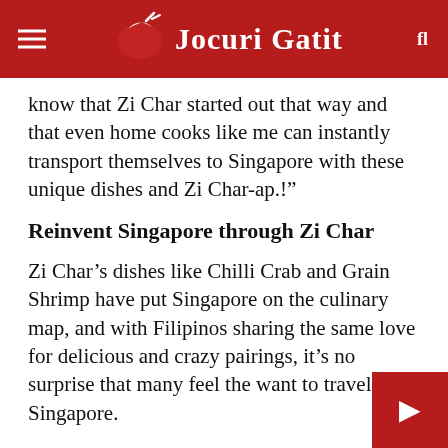Jocuri Gatit
know that Zi Char started out that way and that even home cooks like me can instantly transport themselves to Singapore with these unique dishes and Zi Char-ap.!”
Reinvent Singapore through Zi Char
Zi Char’s dishes like Chilli Crab and Grain Shrimp have put Singapore on the culinary map, and with Filipinos sharing the same love for delicious and crazy pairings, it’s no surprise that many feel the want to travel to Singapore.
However, with borders still closed, STB is bringing Singapore closer to Filipinos by enabling them reinvent Singapore through efforts such as “Zi or Char Lang”